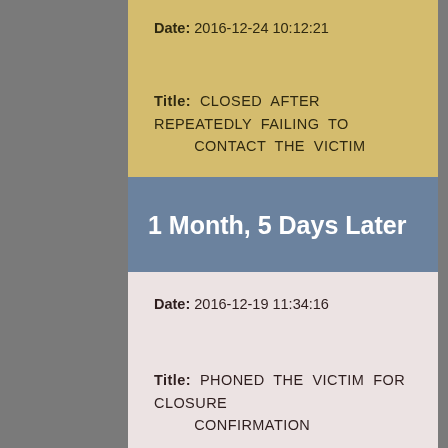Date: 2016-12-24 10:12:21
Title: CLOSED AFTER REPEATEDLY FAILING TO CONTACT THE VICTIM
1 Month, 5 Days Later
Date: 2016-12-19 11:34:16
Title: PHONED THE VICTIM FOR CLOSURE CONFIRMATION